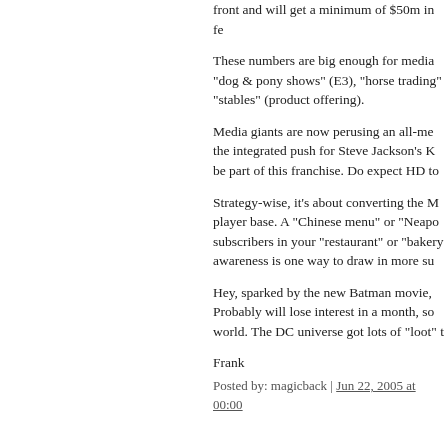front and will get a minimum of $50m in fe
These numbers are big enough for media “dog & pony shows” (E3), “horse trading” “stables” (product offering).
Media giants are now perusing an all-me the integrated push for Steve Jackson’s K be part of this franchise. Do expect HD to
Strategy-wise, it’s about converting the M player base. A “Chinese menu” or “Neapo subscribers in your “restaurant” or “bakery awareness is one way to draw in more su
Hey, sparked by the new Batman movie, Probably will lose interest in a month, so world. The DC universe got lots of “loot” t
Frank
Posted by: magicback | Jun 22, 2005 at 00:00
21. Does anybody disagree that, pure an the DC license? This is more like TV synd four seasons of ‘Friends’? No problem, bu Island,’ too.”
I seriously doubt either party expects SOB license and WBIE digging itself out of a h CB and the franchise will be wished